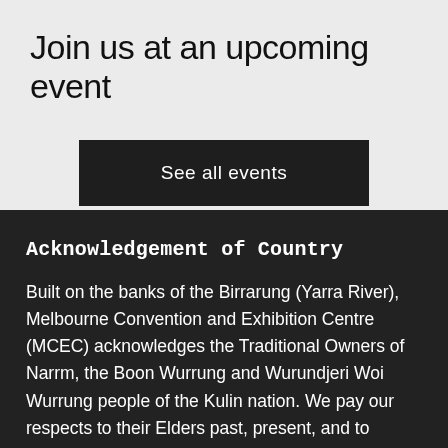Join us at an upcoming event
See all events
Acknowledgement of Country
Built on the banks of the Birrarung (Yarra River), Melbourne Convention and Exhibition Centre (MCEC) acknowledges the Traditional Owners of Narrm, the Boon Wurrung and Wurundjeri Woi Wurrung people of the Kulin nation. We pay our respects to their Elders past, present, and to Elders of all First Nations communities that visit MCEC. We recognise the significance of the Birrarung to